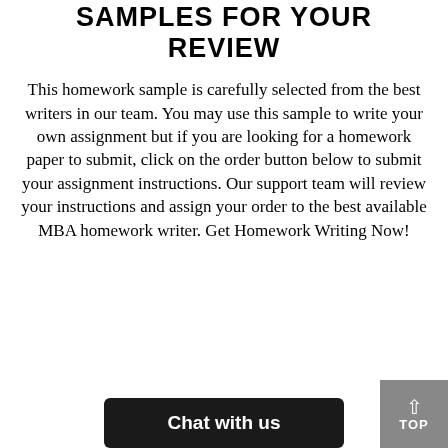SAMPLES FOR YOUR REVIEW
This homework sample is carefully selected from the best writers in our team. You may use this sample to write your own assignment but if you are looking for a homework paper to submit, click on the order button below to submit your assignment instructions. Our support team will review your instructions and assign your order to the best available MBA homework writer. Get Homework Writing Now!
Chat with us
TOP